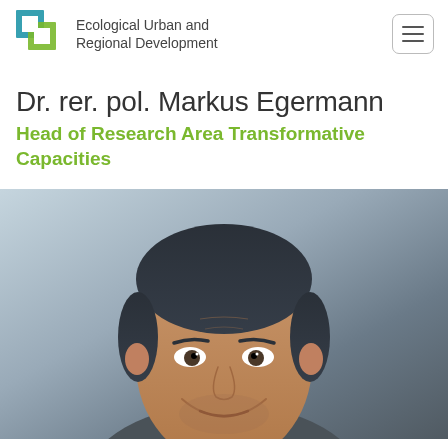Ecological Urban and Regional Development
Dr. rer. pol. Markus Egermann
Head of Research Area Transformative Capacities
[Figure (photo): Portrait photo of Dr. Markus Egermann, a middle-aged man with dark hair, slight smile, wearing casual clothing, photographed against a blurred blue-grey background.]